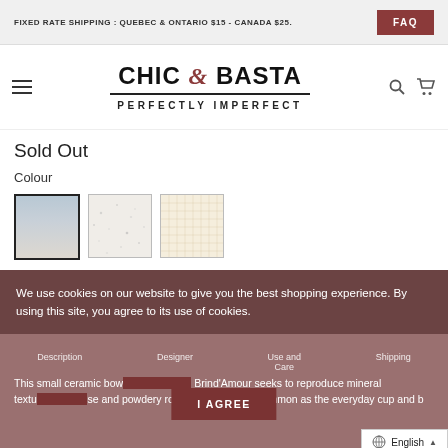FIXED RATE SHIPPING : QUEBEC & ONTARIO $15 - CANADA $25.   FAQ
[Figure (logo): Chic & Basta logo with text PERFECTLY IMPERFECT below]
Sold Out
Colour
[Figure (other): Three colour swatches: blue-grey gradient, off-white with speckles, cream with crosshatch pattern]
We use cookies on our website to give you the best shopping experience. By using this site, you agree to its use of cookies.
Description   Designer   Use and Care   Shipping
This small ceramic bow Brind'Amour seeks to reproduce mineral textu se and powdery rocks on objects as common as the everyday cup and b
I AGREE
English